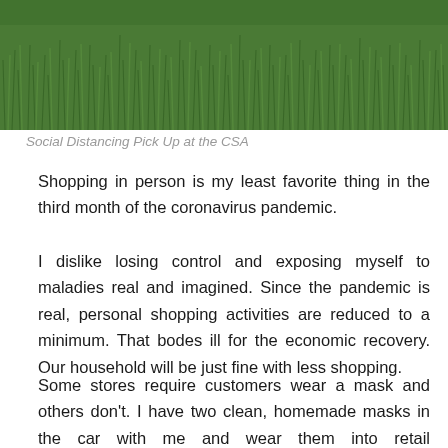[Figure (photo): A photo of green grass field, partially visible at the top of the page, cropped to show only the upper portion.]
Social Distancing Pick Up at the CSA
Shopping in person is my least favorite thing in the third month of the coronavirus pandemic.
I dislike losing control and exposing myself to maladies real and imagined. Since the pandemic is real, personal shopping activities are reduced to a minimum. That bodes ill for the economic recovery. Our household will be just fine with less shopping.
Some stores require customers wear a mask and others don't. I have two clean, homemade masks in the car with me and wear them into retail establishments. Most retailers have taken action to protect their workers, but